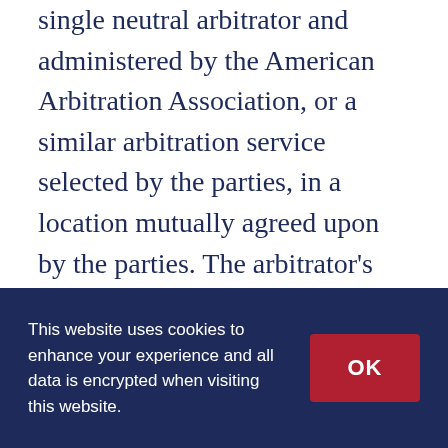single neutral arbitrator and administered by the American Arbitration Association, or a similar arbitration service selected by the parties, in a location mutually agreed upon by the parties. The arbitrator's award shall be final, and judgment may be entered upon it in any court having jurisdiction. In the event that any legal or equitable action, proceeding or arbitration arises out of or concerns these Terms and Conditions, the prevailing party shall be entitled to recover its costs and reasonable attorney's fees. The parties agree to arbitrate all disputes and claims in regards to these Terms and Conditions or any
This website uses cookies to enhance your experience and all data is encrypted when visiting this website.